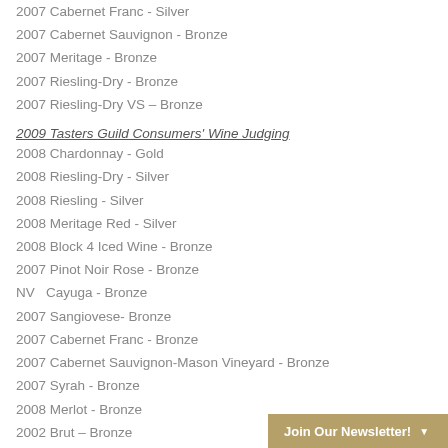2007 Cabernet Franc - Silver
2007 Cabernet Sauvignon - Bronze
2007 Meritage - Bronze
2007 Riesling-Dry - Bronze
2007 Riesling-Dry VS – Bronze
2009 Tasters Guild Consumers' Wine Judging
2008 Chardonnay - Gold
2008 Riesling-Dry - Silver
2008 Riesling - Silver
2008 Meritage Red - Silver
2008 Block 4 Iced Wine - Bronze
2007 Pinot Noir Rose - Bronze
NV   Cayuga - Bronze
2007 Sangiovese- Bronze
2007 Cabernet Franc - Bronze
2007 Cabernet Sauvignon-Mason Vineyard - Bronze
2007 Syrah - Bronze
2008 Merlot - Bronze
2002 Brut – Bronze
Join Our Newsletter!